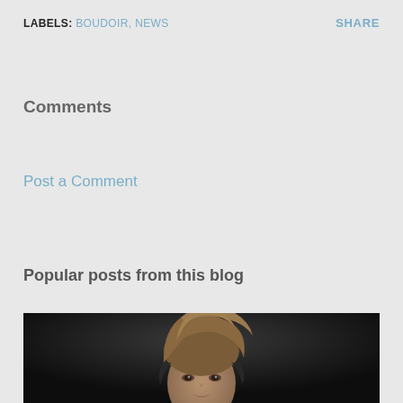LABELS: BOUDOIR, NEWS    SHARE
Comments
Post a Comment
Popular posts from this blog
[Figure (photo): Portrait photo of a person with styled upswept hair against a dark background, partially cropped at the bottom of the page]